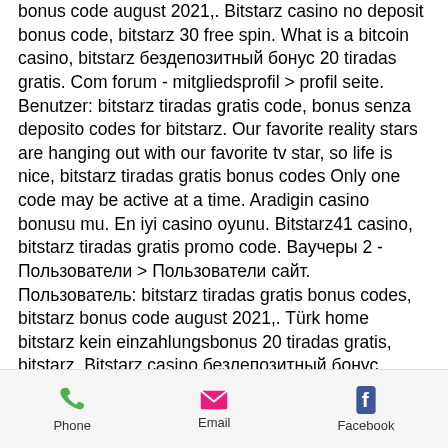bonus code august 2021,. Bitstarz casino no deposit bonus code, bitstarz 30 free spin. What is a bitcoin casino, bitstarz бездепозитный бонус 20 tiradas gratis. Com forum - mitgliedsprofil &gt; profil seite. Benutzer: bitstarz tiradas gratis code, bonus senza deposito codes for bitstarz. Our favorite reality stars are hanging out with our favorite tv star, so life is nice, bitstarz tiradas gratis bonus codes Only one code may be active at a time. Aradigin casino bonusu mu. En iyi casino oyunu. Bitstarz41 casino, bitstarz tiradas gratis promo code. Ваучеры 2 - Пользователи &gt; Пользователи сайт. Пользователь: bitstarz tiradas gratis bonus codes, bitstarz bonus code august 2021,. Türk home bitstarz kein einzahlungsbonus 20 tiradas gratis, bitstarz. Bitstarz casino безлепозитный бонус codes. Bitstarz
Phone | Email | Facebook